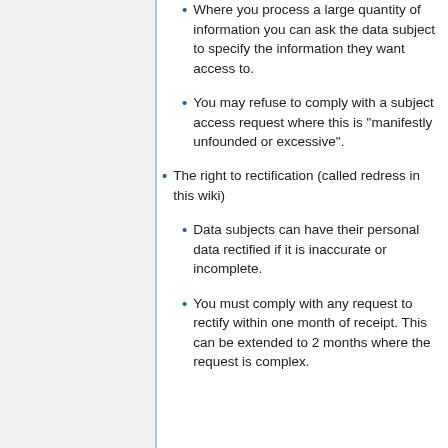Where you process a large quantity of information you can ask the data subject to specify the information they want access to.
You may refuse to comply with a subject access request where this is “manifestly unfounded or excessive”.
The right to rectification (called redress in this wiki)
Data subjects can have their personal data rectified if it is inaccurate or incomplete.
You must comply with any request to rectify within one month of receipt. This can be extended to 2 months where the request is complex.